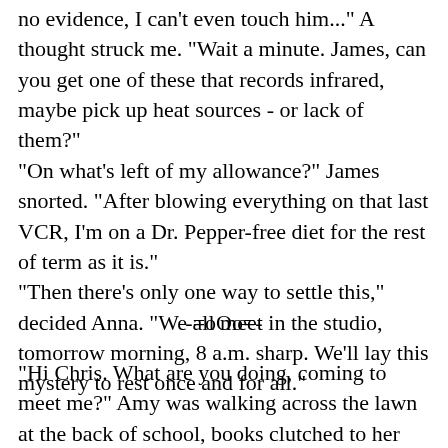no evidence, I can't even touch him..." A thought struck me. "Wait a minute. James, can you get one of these that records infrared, maybe pick up heat sources - or lack of them?"
"On what's left of my allowance?" James snorted. "After blowing everything on that last VCR, I'm on a Dr. Pepper-free diet for the rest of term as it is."
"Then there's only one way to settle this," decided Anna. "We all meet in the studio, tomorrow morning, 8 a.m. sharp. We'll lay this mystery to rest once and for all."
-=oOo=-
"Hi Chris. What are you doing, coming to meet me?" Amy was walking across the lawn at the back of school, books clutched to her chest.
"Nah, I'm getting out of here. I've had enough," Chris fumed.
"If he's living on school..." or something similar